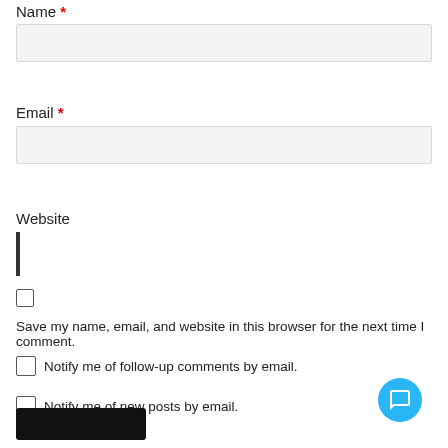Name *
[Figure (other): Name input field (empty, light gray background)]
Email *
[Figure (other): Email input field (empty, light gray background)]
Website
[Figure (other): Website input field (empty, white background with dark border, narrower width)]
Save my name, email, and website in this browser for the next time I comment.
Notify me of follow-up comments by email.
Notify me of new posts by email.
[Figure (other): Black submit button at bottom left]
[Figure (other): Blue circular chat/support button at bottom right]